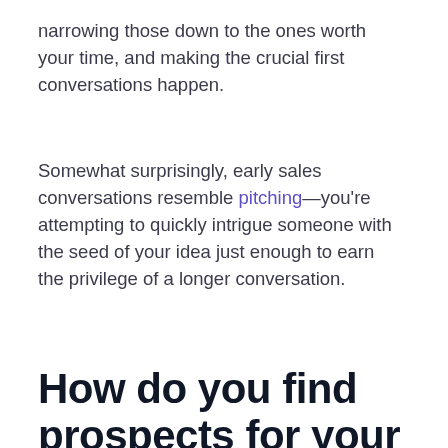narrowing those down to the ones worth your time, and making the crucial first conversations happen.
Somewhat surprisingly, early sales conversations resemble pitching—you're attempting to quickly intrigue someone with the seed of your idea just enough to earn the privilege of a longer conversation.
How do you find prospects for your company?
You're going to do things scrappily in a spreadsheet to start out, likely with only a handful of columns: name of